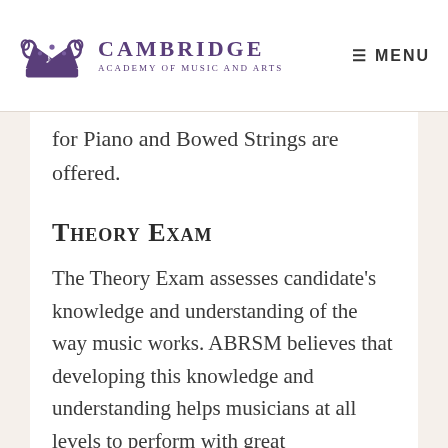Cambridge Academy of Music and Arts — MENU
for Piano and Bowed Strings are offered.
Theory Exam
The Theory Exam assesses candidate's knowledge and understanding of the way music works. ABRSM believes that developing this knowledge and understanding helps musicians at all levels to perform with great